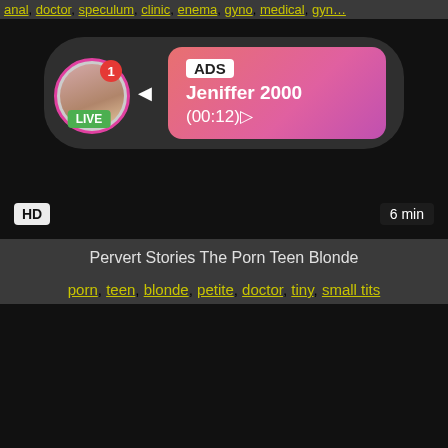anal, doctor, speculum, clinic, enema, gyno, medical, gyn…
[Figure (screenshot): Video thumbnail with dark background showing an ad overlay with a profile avatar labeled LIVE, notification badge, ADS label, username Jeniffer 2000, duration (00:12), HD badge bottom-left, 6 min badge bottom-right]
Pervert Stories The Porn Teen Blonde
porn, teen, blonde, petite, doctor, tiny, small tits
[Figure (screenshot): Dark video thumbnail, mostly black]